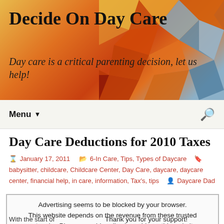[Figure (illustration): Website header banner with geometric polygon pattern in orange, red, and blue tones with title 'Decide On Day Care' and subtitle 'Day care is a critical parenting decision, let us help!']
Menu ▼   🔍
Day Care Deductions for 2010 Taxes
January 17, 2011   6-In Care, Tips, Types of Daycare   babysitter, childcare, Childcare Center, Day Care, daycare, daycare center, financial help, in care, information, Tax's, tips   Daycare Dad
Advertising seems to be blocked by your browser. This website depends on the revenue from these trusted networks. Please consider allowing adds on this website Thank you for your support!
With the start of